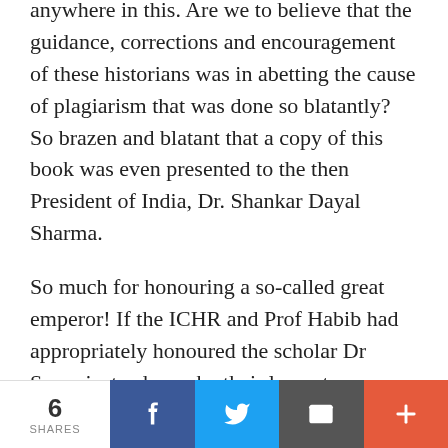anywhere in this. Are we to believe that the guidance, corrections and encouragement of these historians was in abetting the cause of plagiarism that was done so blatantly? So brazen and blatant that a copy of this book was even presented to the then President of India, Dr. Shankar Dayal Sharma.

So much for honouring a so-called great emperor! If the ICHR and Prof Habib had appropriately honoured the scholar Dr Saran instead, maybe their lament on renaming the Aurangzeb Road as APJ
6 SHARES | Facebook | Twitter | Email | More